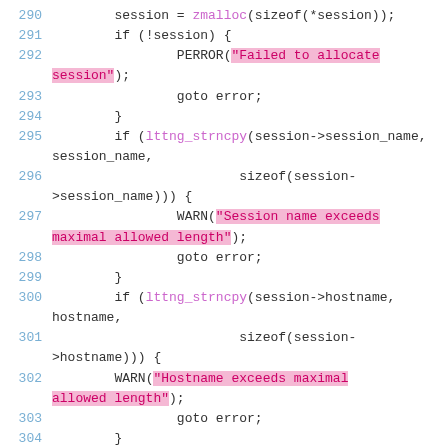[Figure (screenshot): Source code listing in C showing lines 290-306 with syntax highlighting. Pink/magenta highlighted string literals in PERROR and WARN macros, and lttng_strncpy function calls highlighted in pink/purple. Line numbers in blue on the left.]